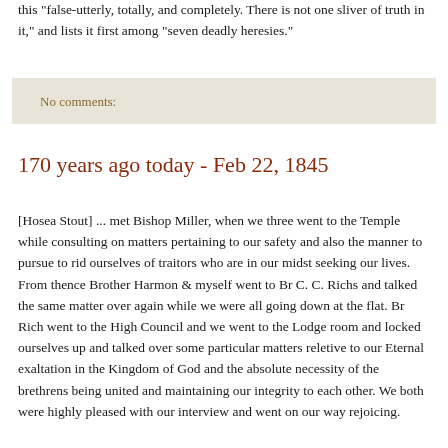this "false-utterly, totally, and completely. There is not one sliver of truth in it," and lists it first among "seven deadly heresies."
No comments:
170 years ago today - Feb 22, 1845
[Hosea Stout] ... met Bishop Miller, when we three went to the Temple while consulting on matters pertaining to our safety and also the manner to pursue to rid ourselves of traitors who are in our midst seeking our lives. From thence Brother Harmon & myself went to Br C. C. Richs and talked the same matter over again while we were all going down at the flat. Br Rich went to the High Council and we went to the Lodge room and locked ourselves up and talked over some particular matters reletive to our Eternal exaltation in the Kingdom of God and the absolute necessity of the brethrens being united and maintaining our integrity to each other. We both were highly pleased with our interview and went on our way rejoicing.